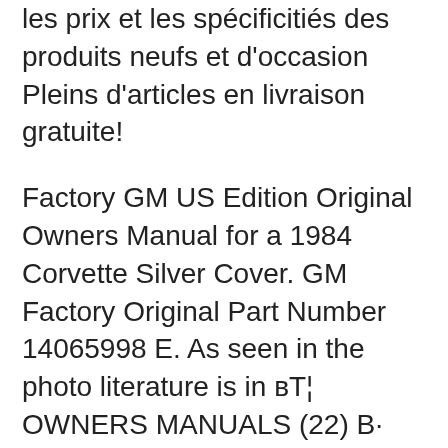les prix et les spécificités des produits neufs et d'occasion Pleins d'articles en livraison gratuite!
Factory GM US Edition Original Owners Manual for a 1984 Corvette Silver Cover. GM Factory Original Part Number 14065998 E. As seen in the photo literature is in вЂ¦ OWNERS MANUALS (22) В· BMW OWNERS MANUALS (41) В· BUICK OWNERS MANUALS (114). 1979 Corvette Shop Manual 79 Repair Service Book Chevrolet Chevy 1984 Chevrolet Corvette Shop Service Repair Manual CD Engine Drivetrain Wiring. ACURA OWNERS MANUALS (54) В· AUDI OWNERS MANUALS (22) В· BMW OWNERS MANUALS (42) В· BUICK